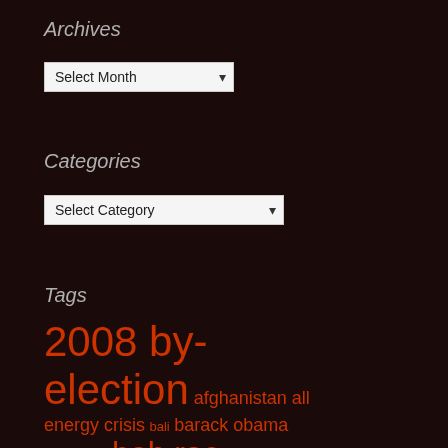Archives
[Figure (screenshot): Select Month dropdown box]
Categories
[Figure (screenshot): Select Category dropdown box]
Tags
2008 by-election afghanistan all energy crisis bali barack obama bill graham bob rae campaign office chris tindal climate